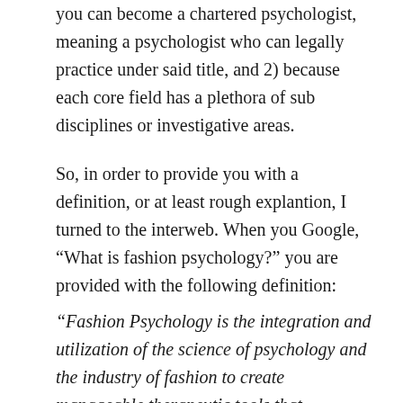you can become a chartered psychologist, meaning a psychologist who can legally practice under said title, and 2) because each core field has a plethora of sub disciplines or investigative areas.
So, in order to provide you with a definition, or at least rough explantion, I turned to the interweb. When you Google, “What is fashion psychology?” you are provided with the following definition:
“Fashion Psychology is the integration and utilization of the science of psychology and the industry of fashion to create manageable therapeutic tools that ultimately assist in the development of desired results in both clients’ perceptions of self, their behaviors, and moods as well as targeted objectives within the business